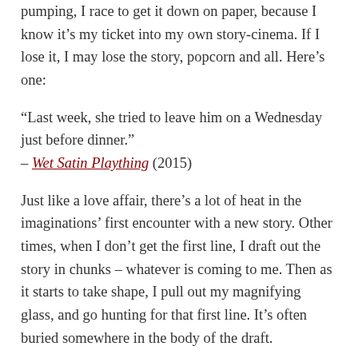pumping, I race to get it down on paper, because I know it's my ticket into my own story-cinema. If I lose it, I may lose the story, popcorn and all. Here's one:
“Last week, she tried to leave him on a Wednesday just before dinner.”
– Wet Satin Plaything (2015)
Just like a love affair, there’s a lot of heat in the imaginations’ first encounter with a new story. Other times, when I don’t get the first line, I draft out the story in chunks – whatever is coming to me. Then as it starts to take shape, I pull out my magnifying glass, and go hunting for that first line. It’s often buried somewhere in the body of the draft.
Some writers may relate to this. If you’re not excited when you read the first line of your story, chances are your readers won’t be either. Keep an open mind, and go hunting. Oftentimes, you’ve